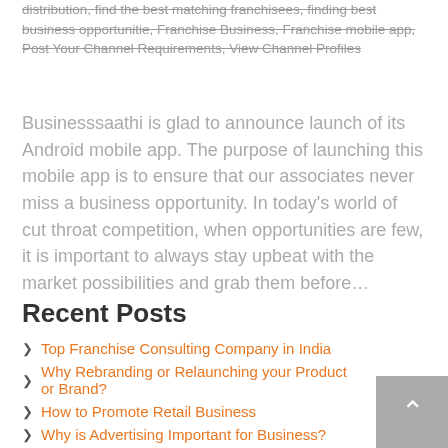distribution, find the best matching franchisees, finding best business opportunitie, Franchise Business, Franchise mobile app, Post Your Channel Requirements, View Channel Profiles
Businesssaathi is glad to announce launch of its Android mobile app. The purpose of launching this mobile app is to ensure that our associates never miss a business opportunity. In today's world of cut throat competition, when opportunities are few, it is important to always stay upbeat with the market possibilities and grab them before…
Recent Posts
Top Franchise Consulting Company in India
Why Rebranding or Relaunching your Product or Brand?
How to Promote Retail Business
Why is Advertising Important for Business?
How to find Potential Channel Sales Partners